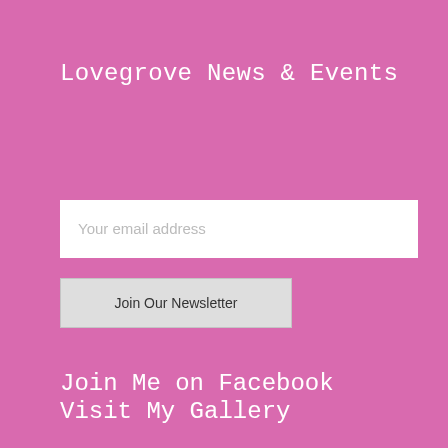Lovegrove News & Events
Your email address
Join Our Newsletter
Join Me on Facebook
Visit My Gallery